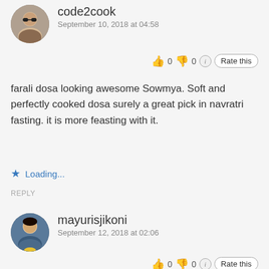code2cook
September 10, 2018 at 04:58
👍 0 👎 0 ℹ Rate this
farali dosa looking awesome Sowmya. Soft and perfectly cooked dosa surely a great pick in navratri fasting. it is more feasting with it.
★ Loading...
REPLY
mayurisjikoni
September 12, 2018 at 02:06
👍 0 👎 0 ℹ Rate this